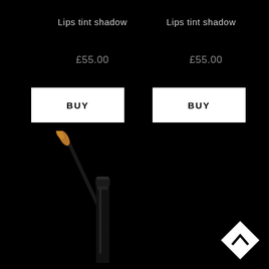Lips tint shadow
Lips tint shadow
£55.00
£55.00
BUY
BUY
[Figure (photo): Lip tint applicator with brush and tube against black background]
[Figure (logo): White diamond/rhombus shape with upward chevron arrow inside, bottom right corner]